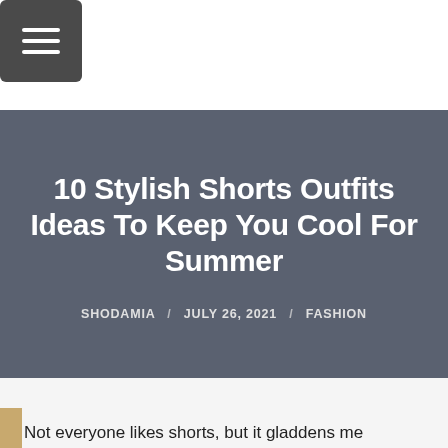[Figure (other): Hamburger/menu icon button in dark grey square with three horizontal white lines]
10 Stylish Shorts Outfits Ideas To Keep You Cool For Summer
SHODAMIA / JULY 26, 2021 / FASHION
Not everyone likes shorts, but it gladdens me